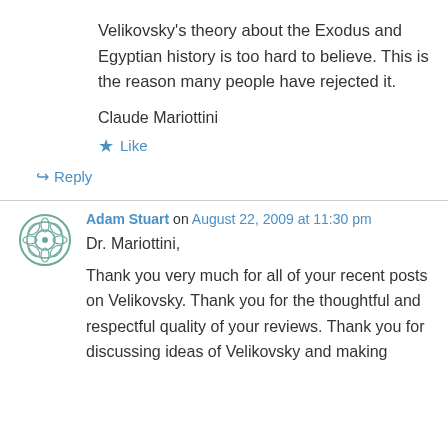Velikovsky's theory about the Exodus and Egyptian history is too hard to believe. This is the reason many people have rejected it.
Claude Mariottini
★ Like
↳ Reply
Adam Stuart on August 22, 2009 at 11:30 pm
Dr. Mariottini,
Thank you very much for all of your recent posts on Velikovsky. Thank you for the thoughtful and respectful quality of your reviews. Thank you for discussing ideas of Velikovsky and making